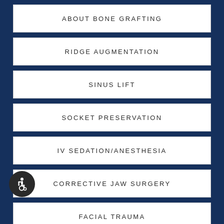ABOUT BONE GRAFTING
RIDGE AUGMENTATION
SINUS LIFT
SOCKET PRESERVATION
IV SEDATION/ANESTHESIA
CORRECTIVE JAW SURGERY
FACIAL TRAUMA
[Figure (illustration): Wheelchair accessibility icon inside a dark circular badge]